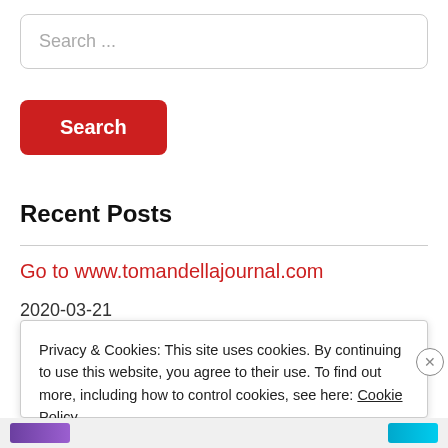Search ...
Search
Recent Posts
Go to www.tomandellajournal.com
2020-03-21
Privacy & Cookies: This site uses cookies. By continuing to use this website, you agree to their use. To find out more, including how to control cookies, see here: Cookie Policy.
Close and accept